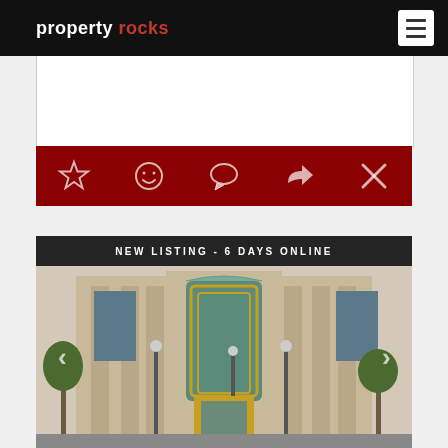property rocks
[Figure (screenshot): Property Rocks real estate website screenshot showing a property listing page with action icons (favorite, smiley, comment, share, close) on a dark red toolbar, and a building photo with 'NEW LISTING - 6 DAYS ONLINE' banner]
NEW LISTING - 6 DAYS ONLINE